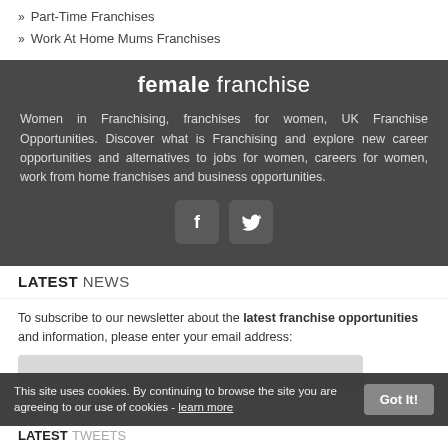» Part-Time Franchises
» Work At Home Mums Franchises
female franchise
Women in Franchising, franchises for women, UK Franchise Opportunities. Discover what is Franchising and explore new career opportunities and alternatives to jobs for women, careers for women, work from home franchises and business opportunities.
[Figure (illustration): Facebook and Twitter social media icons, rounded square buttons]
LATEST NEWS
To subscribe to our newsletter about the latest franchise opportunities and information, please enter your email address:
This site uses cookies. By continuing to browse the site you are agreeing to our use of cookies - learn more   Got It!
LATEST TWEETS